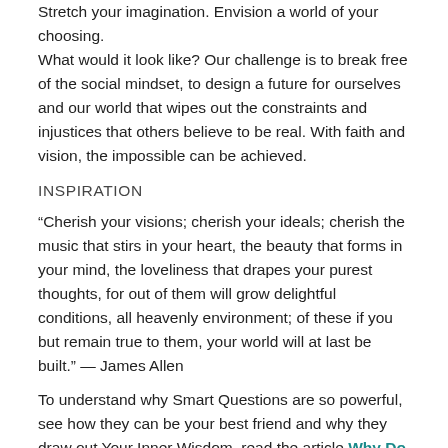Stretch your imagination. Envision a world of your choosing.
What would it look like? Our challenge is to break free of the social mindset, to design a future for ourselves and our world that wipes out the constraints and injustices that others believe to be real. With faith and vision, the impossible can be achieved.
INSPIRATION
“Cherish your visions; cherish your ideals; cherish the music that stirs in your heart, the beauty that forms in your mind, the loveliness that drapes your purest thoughts, for out of them will grow delightful conditions, all heavenly environment; of these if you but remain true to them, your world will at last be built.” — James Allen
To understand why Smart Questions are so powerful, see how they can be your best friend and why they draw out Your Inner Wisdom, read the article Why Do Questions